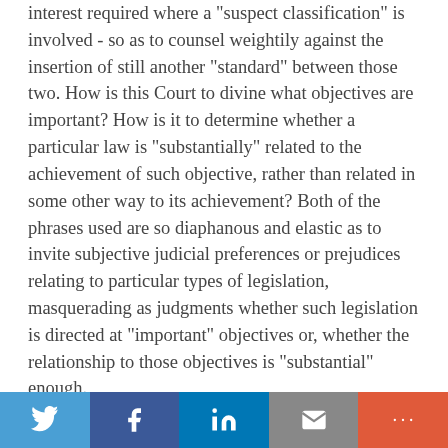interest required where a 'suspect classification' is involved - so as to counsel weightily against the insertion of still another "standard" between those two. How is this Court to divine what objectives are important? How is it to determine whether a particular law is "substantially" related to the achievement of such objective, rather than related in some other way to its achievement? Both of the phrases used are so diaphanous and elastic as to invite subjective judicial preferences or prejudices relating to particular types of legislation, masquerading as judgments whether such legislation is directed at "important" objectives or, whether the relationship to those objectives is "substantial" enough.
I would have thought that if this Court were to leave anything to decision by the popularly elected branches of the Government, where no constitutional claim other than that of equal protection is invoked, it would be the decision as to
[Figure (infographic): Social sharing bar with buttons for Twitter (blue), Facebook (dark blue), LinkedIn (blue), Email (gray), and More (orange-red)]